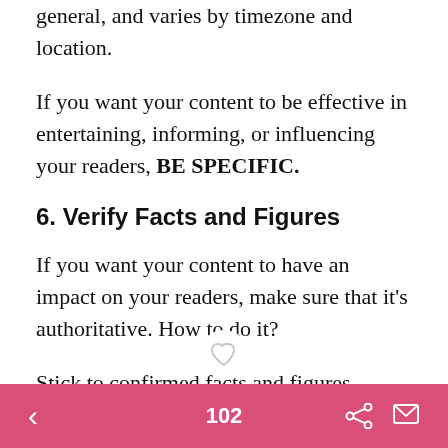general, and varies by timezone and location.
If you want your content to be effective in entertaining, informing, or influencing your readers, BE SPECIFIC.
6. Verify Facts and Figures
If you want your content to have an impact on your readers, make sure that it's authoritative. How to do it?
Stick to confirmed facts and figures.
Always support your ideas with verified data. Doing so can make your content powerful.
Crucial information  ore up any claims
102